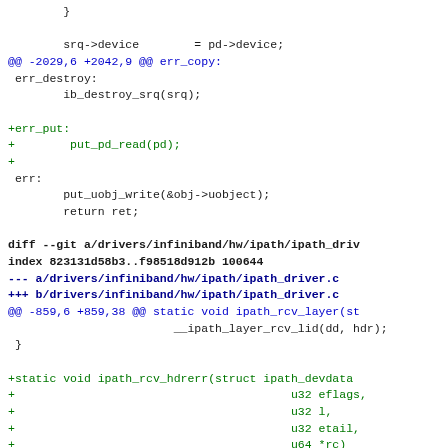[Figure (other): Source code diff showing changes to Linux kernel infiniband driver files]